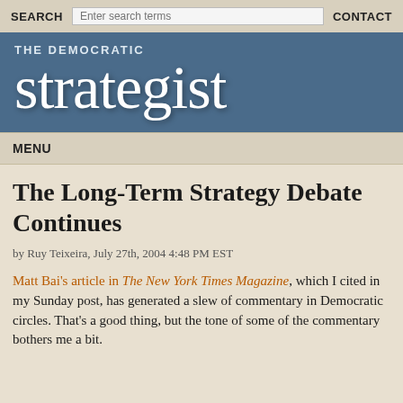SEARCH   [search input]   CONTACT
THE DEMOCRATIC strategist
MENU
The Long-Term Strategy Debate Continues
by Ruy Teixeira, July 27th, 2004 4:48 PM EST
Matt Bai's article in The New York Times Magazine, which I cited in my Sunday post, has generated a slew of commentary in Democratic circles. That's a good thing, but the tone of some of the commentary bothers me a bit.